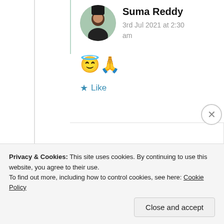Suma Reddy
3rd Jul 2021 at 2:30 am
😇🙏
★ Like
sanjay ranout
3rd Jul 2021 at 4:48
Privacy & Cookies: This site uses cookies. By continuing to use this website, you agree to their use.
To find out more, including how to control cookies, see here: Cookie Policy
Close and accept